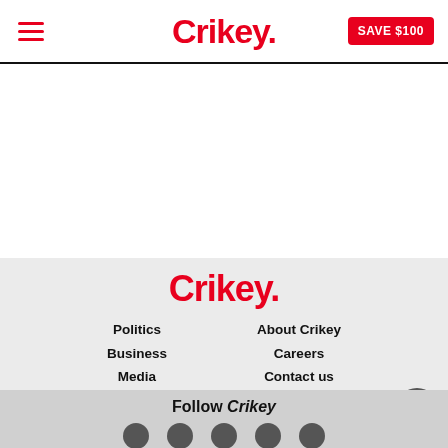Crikey. SAVE $100
[Figure (logo): Crikey logo in footer navigation area]
Politics
Business
Media
Culture
About Crikey
Careers
Contact us
Follow Crikey
[Figure (illustration): Social media icons row at bottom of page]